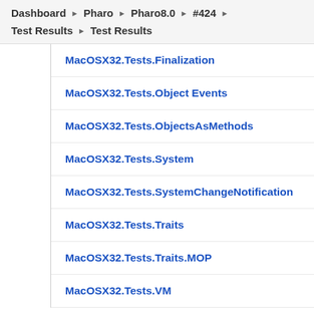Dashboard ▶ Pharo ▶ Pharo8.0 ▶ #424 ▶
Test Results ▶ Test Results
MacOSX32.Tests.Finalization
MacOSX32.Tests.Object Events
MacOSX32.Tests.ObjectsAsMethods
MacOSX32.Tests.System
MacOSX32.Tests.SystemChangeNotification
MacOSX32.Tests.Traits
MacOSX32.Tests.Traits.MOP
MacOSX32.Tests.VM